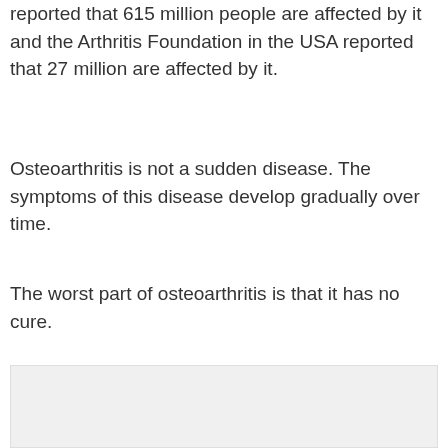reported that 615 million people are affected by it and the Arthritis Foundation in the USA reported that 27 million are affected by it.
Osteoarthritis is not a sudden disease. The symptoms of this disease develop gradually over time.
The worst part of osteoarthritis is that it has no cure.
[Figure (other): Light gray rectangular box, appears to be a placeholder image area at the bottom of the page.]